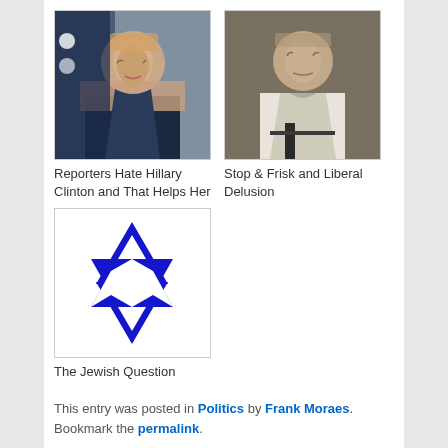[Figure (photo): Photo of Hillary Clinton smiling, with American flag in background]
Reporters Hate Hillary Clinton and That Helps Her
[Figure (photo): Photo of an older man in a suit]
Stop & Frisk and Liberal Delusion
[Figure (illustration): Blue Star of David on white background]
The Jewish Question
This entry was posted in Politics by Frank Moraes. Bookmark the permalink.